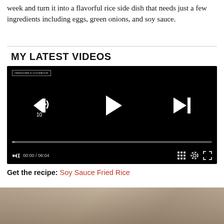week and turn it into a flavorful rice side dish that needs just a few ingredients including eggs, green onions, and soy sauce.
MY LATEST VIDEOS
[Figure (screenshot): Embedded video player with black background showing playback controls: rewind 10 seconds button, play button, skip next button, progress bar, mute button, time display 00:00 / 06:04, grid/chapters button, settings gear icon, and fullscreen button.]
Get the recipe: Soy Sauce Fried Rice
[Figure (photo): Partial photo at bottom of page showing food dish, partially visible.]